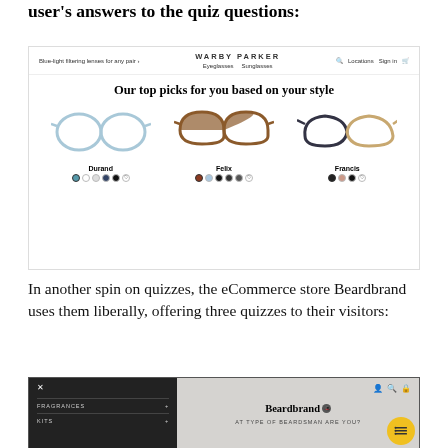user's answers to the quiz questions:
[Figure (screenshot): Warby Parker website screenshot showing 'Our top picks for you based on your style' with three eyeglass frames: Durand, Felix, and Francis, with color dot selectors below each.]
In another spin on quizzes, the eCommerce store Beardbrand uses them liberally, offering three quizzes to their visitors:
[Figure (screenshot): Beardbrand website screenshot showing dark sidebar menu with FRAGRANCES and KITS items, and main area with Beardbrand logo and 'WHAT TYPE OF BEARDSMAN ARE YOU?' text, plus a yellow circular menu button.]